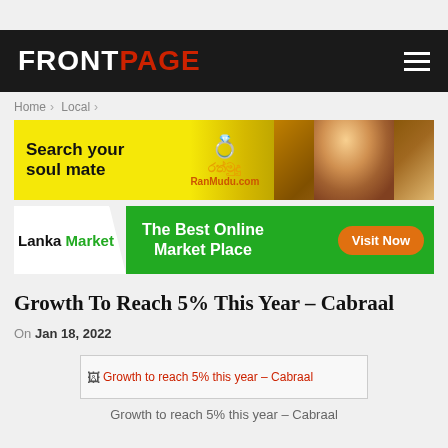FRONTPAGE
Home > Local >
[Figure (illustration): RanMudu.com matrimonial advertisement: yellow background with 'Search your soul mate' text, gold rings icon, Sinhala script, RanMudu.com URL, and a bride photo on the right]
[Figure (illustration): Lanka Market advertisement: white left panel with 'Lanka Market' text (Market in green), green right panel with 'The Best Online Market Place' and orange 'Visit Now' button]
Growth To Reach 5% This Year – Cabraal
On Jan 18, 2022
[Figure (illustration): Broken image placeholder with alt text: Growth to reach 5% this year – Cabraal]
Growth to reach 5% this year – Cabraal